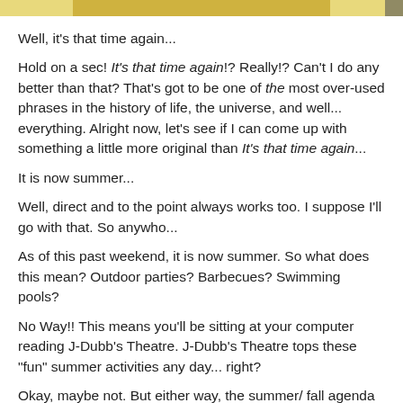[Figure (photo): Partial image visible at top of page, appears to be a cropped photo with yellow/golden tones]
Well, it's that time again...
Hold on a sec! It's that time again!? Really!? Can't I do any better than that? That's got to be one of the most over-used phrases in the history of life, the universe, and well... everything. Alright now, let's see if I can come up with something a little more original than It's that time again...
It is now summer...
Well, direct and to the point always works too. I suppose I'll go with that. So anywho...
As of this past weekend, it is now summer. So what does this mean? Outdoor parties? Barbecues? Swimming pools?
No Way!! This means you'll be sitting at your computer reading J-Dubb's Theatre. J-Dubb's Theatre tops these "fun" summer activities any day... right?
Okay, maybe not. But either way, the summer/ fall agenda for